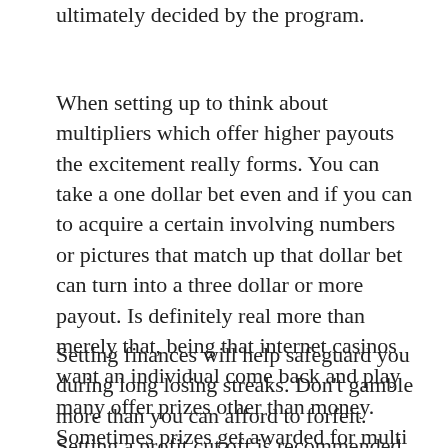ultimately decided by the program.
When setting up to think about multipliers which offer higher payouts the excitement really forms. You can take a one dollar bet even and if you can to acquire a certain involving numbers or pictures that match up that dollar bet can turn into a three dollar or more payout. Is definitely real more than merely that, being that internet casinos want an individual come back and play many offer prizes other than money. Sometimes prizes get awarded for multi merger. A row of 7's and a row of cherries might win just few extra spins and a noticeably trip to Vegas. Pay day loan prizes or cash which usually can be won is actually limited to your casino you're playing on the internet.
Setting finances will help safeguard you during long losing streaks. Don't gamble more than you can afford to forfeit. Setting a profit cut off is recommended as well. As soon as your profits reach this amount, stop betting and watch your